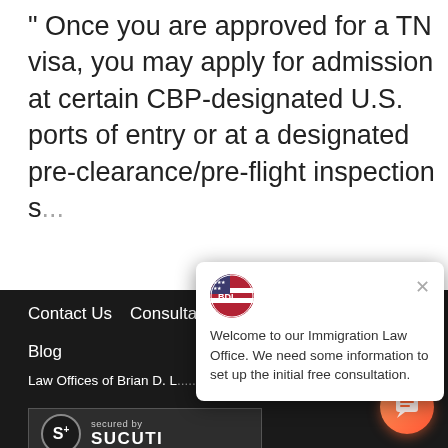" Once you are approved for a TN visa, you may apply for admission at certain CBP-designated U.S. ports of entry or at a designated pre-clearance/pre-flight inspection s...
Contact Us   Consultation
Blog
Law Offices of Brian D. L... | © 2022 | All Rights reserved
[Figure (screenshot): Chat popup overlay from an Immigration Law Office chatbot, with circular logo, close button, and message: 'Welcome to our Immigration Law Office. We need some information to set up the initial free consultation.']
[Figure (logo): Sucuri security badge - 'secured by SUCURI' with S+ logo on dark background]
[Figure (illustration): Orange circular chat button with speech bubble icon, bottom right corner]